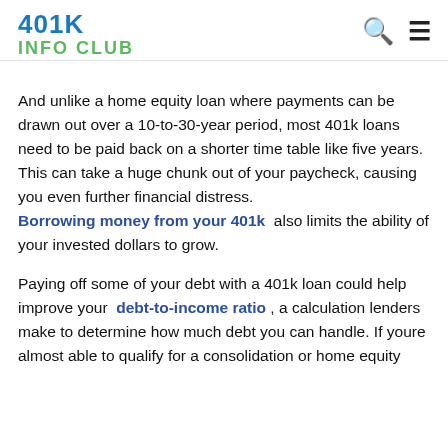401K INFO CLUB
And unlike a home equity loan where payments can be drawn out over a 10-to-30-year period, most 401k loans need to be paid back on a shorter time table like five years. This can take a huge chunk out of your paycheck, causing you even further financial distress. Borrowing money from your 401k also limits the ability of your invested dollars to grow.
Paying off some of your debt with a 401k loan could help improve your debt-to-income ratio , a calculation lenders make to determine how much debt you can handle. If youre almost able to qualify for a consolidation or home equity